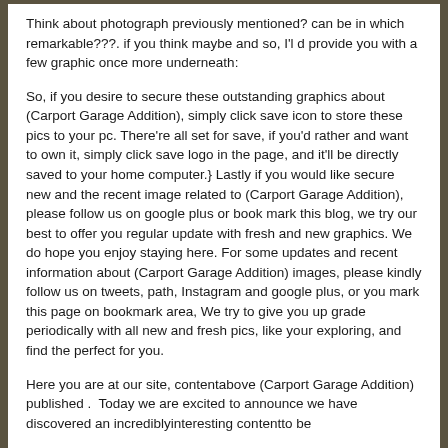Think about photograph previously mentioned? can be in which remarkable???. if you think maybe and so, I'l d provide you with a few graphic once more underneath:
So, if you desire to secure these outstanding graphics about (Carport Garage Addition), simply click save icon to store these pics to your pc. There're all set for save, if you'd rather and want to own it, simply click save logo in the page, and it'll be directly saved to your home computer.} Lastly if you would like secure new and the recent image related to (Carport Garage Addition), please follow us on google plus or book mark this blog, we try our best to offer you regular update with fresh and new graphics. We do hope you enjoy staying here. For some updates and recent information about (Carport Garage Addition) images, please kindly follow us on tweets, path, Instagram and google plus, or you mark this page on bookmark area, We try to give you up grade periodically with all new and fresh pics, like your exploring, and find the perfect for you.
Here you are at our site, contentabove (Carport Garage Addition) published .  Today we are excited to announce we have discovered an incrediblyinteresting contentto be